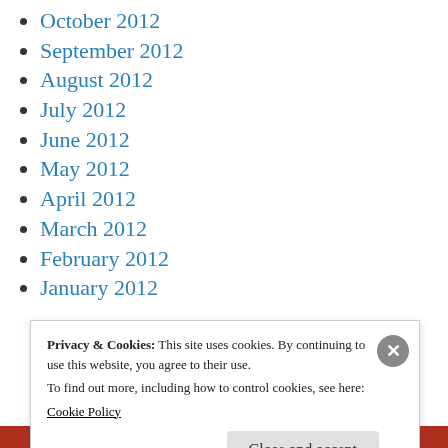October 2012
September 2012
August 2012
July 2012
June 2012
May 2012
April 2012
March 2012
February 2012
January 2012
Privacy & Cookies: This site uses cookies. By continuing to use this website, you agree to their use.
To find out more, including how to control cookies, see here:
Cookie Policy
Close and accept